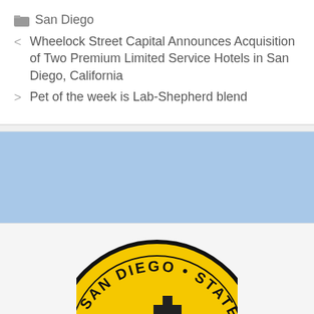San Diego
Wheelock Street Capital Announces Acquisition of Two Premium Limited Service Hotels in San Diego, California
Pet of the week is Lab-Shepherd blend
[Figure (other): Light blue horizontal band/banner area]
[Figure (logo): San Diego State University circular seal/logo with yellow background, black text reading SAN DIEGO • STATE and partial text O, with a building graphic in center. Only top portion visible.]